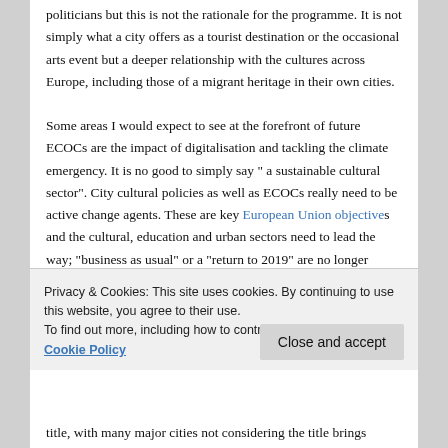politicians but this is not the rationale for the programme. It is not simply what a city offers as a tourist destination or the occasional arts event but a deeper relationship with the cultures across Europe, including those of a migrant heritage in their own cities.
Some areas I would expect to see at the forefront of future ECOCs are the impact of digitalisation and tackling the climate emergency. It is no good to simply say " a sustainable cultural sector". City cultural policies as well as ECOCs really need to be active change agents. These are key European Union objectives and the cultural, education and urban sectors need to lead the way; "business as usual" or a "return to 2019" are no longer
Privacy & Cookies: This site uses cookies. By continuing to use this website, you agree to their use.
To find out more, including how to control cookies, see here: Cookie Policy
Close and accept
title, with many major cities not considering the title brings